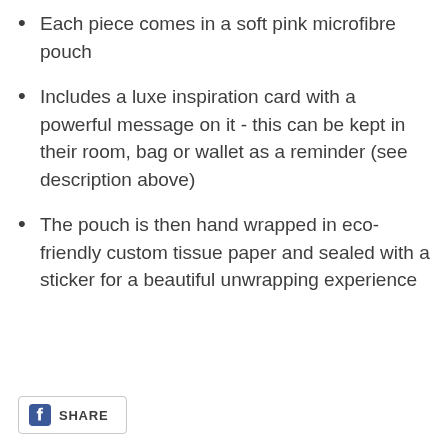Each piece comes in a soft pink microfibre pouch
Includes a luxe inspiration card with a powerful message on it - this can be kept in their room, bag or wallet as a reminder (see description above)
The pouch is then hand wrapped in eco-friendly custom tissue paper and sealed with a sticker for a beautiful unwrapping experience